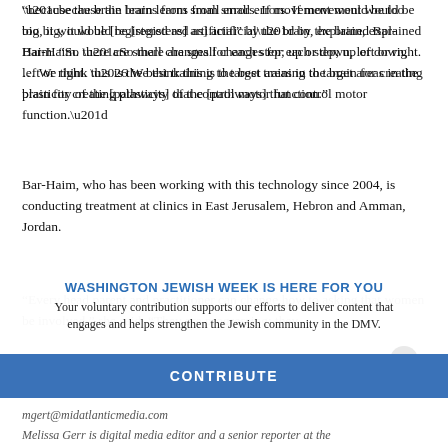“because the brain learns from small errors. If movement would be too big, it would be [registered as] artificial” by the brain, explained Bar-Haim. “So there are small changes for each step; up or down, left or right. … We think this is the best training to target areas in the brain for creating plasticity of the [pathways] that control motor function.”
Bar-Haim, who has been working with this technology since 2004, is conducting treatment at clinics in East Jerusalem, Hebron and Amman, Jordan.
WASHINGTON JEWISH WEEK IS HERE FOR YOU
Your voluntary contribution supports our efforts to deliver content that engages and helps strengthen the Jewish community in the DMV.
“Every head parent and practitioner can change how to asking that women be involved,” she said. “They are progressing; they
CONTRIBUTE
mgert@midatlanticmedia.com
Melissa Gerr is digital media editor and a senior reporter at the